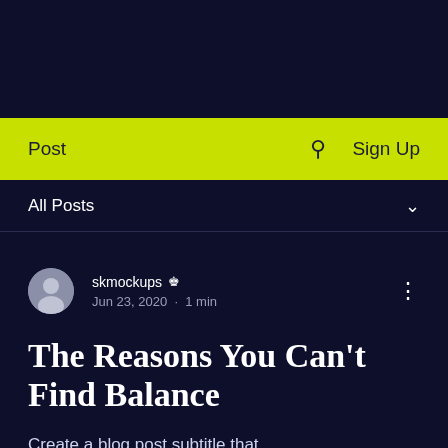[Figure (screenshot): Dark navy header area at top of page]
Post  🔍  Sign Up
All Posts  ∨
skmockups 👑  Jun 23, 2020 · 1 min
The Reasons You Can't Find Balance
Create a blog post subtitle that summarizes your post in a few short,